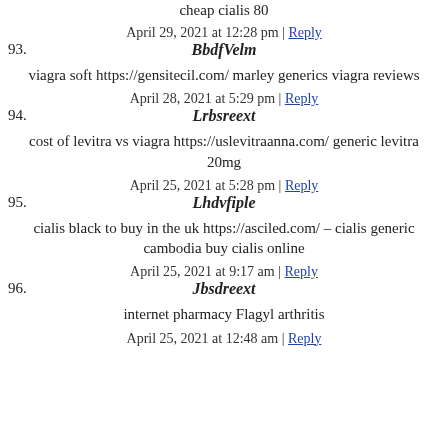cheap cialis 80
April 29, 2021 at 12:28 pm | Reply
93. BbdfVelm
viagra soft https://gensitecil.com/ marley generics viagra reviews
April 28, 2021 at 5:29 pm | Reply
94. Lrbsreext
cost of levitra vs viagra https://uslevitraanna.com/ generic levitra 20mg
April 25, 2021 at 5:28 pm | Reply
95. Lhdvfiple
cialis black to buy in the uk https://asciled.com/ – cialis generic cambodia buy cialis online
April 25, 2021 at 9:17 am | Reply
96. Jbsdreext
internet pharmacy Flagyl arthritis
April 25, 2021 at 12:48 am | Reply